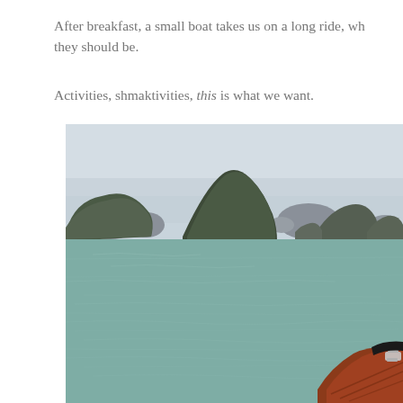After breakfast, a small boat takes us on a long ride, wh... they should be.
Activities, shmaktivities, this is what we want.
[Figure (photo): View from a small boat on Halong Bay, Vietnam. Calm teal-green water in the foreground with a red/orange wooden boat bow visible at the bottom right. Several limestone karst islands with dark green vegetation rise from the water in the middle distance. Hazy sky in the background with more distant karsts visible on the horizon.]